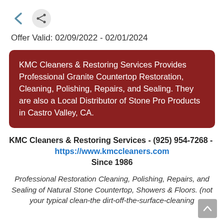[Figure (other): Back arrow icon and share icon (circle with network share symbol)]
Offer Valid: 02/09/2022 - 02/01/2024
KMC Cleaners & Restoring Services Provides Professional Granite Countertop Restoration, Cleaning, Polishing, Repairs, and Sealing. They are also a Local Distributor of Stone Pro Products in Castro Valley, CA.
KMC Cleaners & Restoring Services - (925) 954-7268 -  https://www.kmccleaners.com Since 1986
Professional Restoration Cleaning, Polishing, Repairs, and Sealing of Natural Stone Countertop, Showers & Floors. (not your typical clean-the dirt-off-the-surface-cleaning